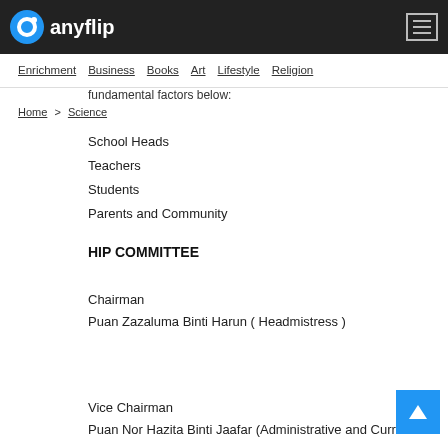anyflip
Enrichment  Business  Books  Art  Lifestyle  Religion
fundamental factors below:
Home > Science
School Heads
Teachers
Students
Parents and Community
HIP COMMITTEE
Chairman
Puan Zazaluma Binti Harun ( Headmistress )
Vice Chairman
Puan Nor Hazita Binti Jaafar (Administrative and Curricular